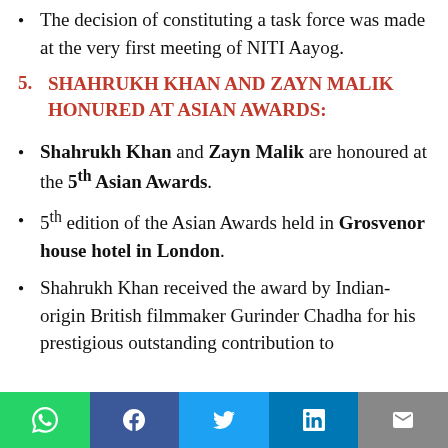The decision of constituting a task force was made at the very first meeting of NITI Aayog.
5. SHAHRUKH KHAN AND ZAYN MALIK HONURED AT ASIAN AWARDS:
Shahrukh Khan and Zayn Malik are honoured at the 5th Asian Awards.
5th edition of the Asian Awards held in Grosvenor house hotel in London.
Shahrukh Khan received the award by Indian-origin British filmmaker Gurinder Chadha for his prestigious outstanding contribution to